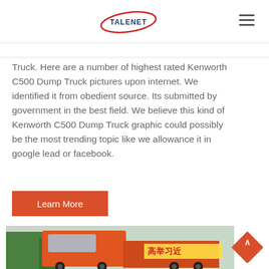TALENET
Truck. Here are a number of highest rated Kenworth C500 Dump Truck pictures upon internet. We identified it from obedient source. Its submitted by government in the best field. We believe this kind of Kenworth C500 Dump Truck graphic could possibly be the most trending topic like we allowance it in google lead or facebook.
Learn More
[Figure (photo): Orange Kenworth dump truck with Chinese text visible on banner, green trees in background]